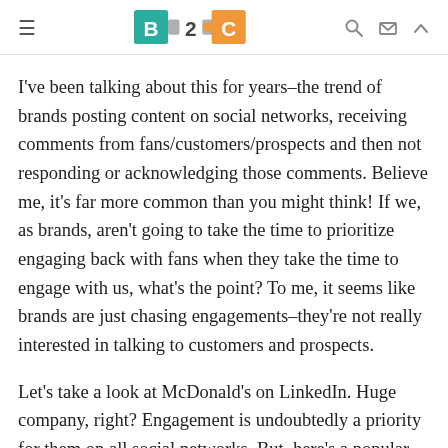B2C [logo]
I've been talking about this for years–the trend of brands posting content on social networks, receiving comments from fans/customers/prospects and then not responding or acknowledging those comments. Believe me, it's far more common than you might think! If we, as brands, aren't going to take the time to prioritize engaging back with fans when they take the time to engage with us, what's the point? To me, it seems like brands are just chasing engagements–they're not really interested in talking to customers and prospects.
Let's take a look at McDonald's on LinkedIn. Huge company, right? Engagement is undoubtedly a priority for them on all social networks. But, here's a popular post they made recently with almost 40 comments–none of which were acknowledged or responded to from the McDi's team: